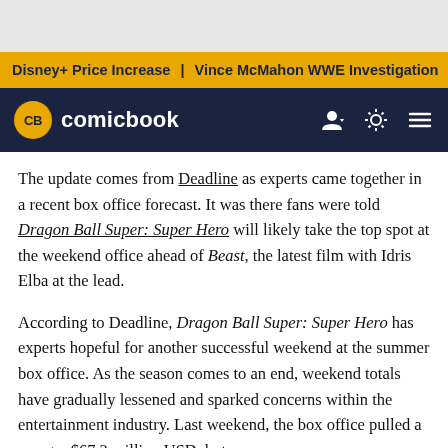Disney+ Price Increase | Vince McMahon WWE Investigation
[Figure (logo): Comicbook.com logo with CB yellow circle mark and navigation icons on dark navy background]
The update comes from Deadline as experts came together in a recent box office forecast. It was there fans were told Dragon Ball Super: Super Hero will likely take the top spot at the weekend office ahead of Beast, the latest film with Idris Elba at the lead.
According to Deadline, Dragon Ball Super: Super Hero has experts hopeful for another successful weekend at the summer box office. As the season comes to an end, weekend totals have gradually lessened and sparked concerns within the entertainment industry. Last weekend, the box office pulled a meager $67.3 million USD, but